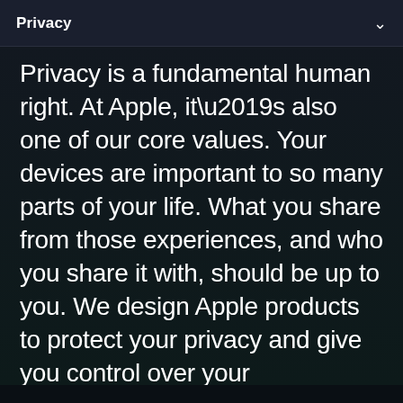Privacy
Privacy is a fundamental human right. At Apple, it’s also one of our core values. Your devices are important to so many parts of your life. What you share from those experiences, and who you share it with, should be up to you. We design Apple products to protect your privacy and give you control over your information. It’s not always easy. But that’s the kind of innovation we believe in.